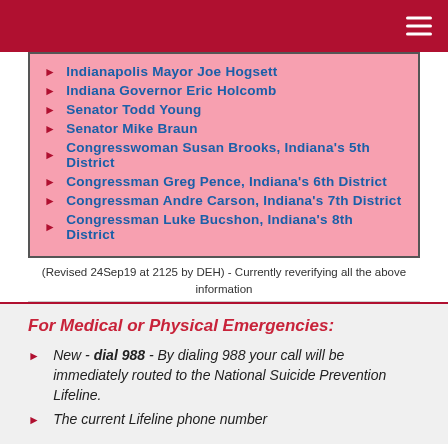Indianapolis Mayor Joe Hogsett
Indiana Governor Eric Holcomb
Senator Todd Young
Senator Mike Braun
Congresswoman Susan Brooks, Indiana's 5th District
Congressman Greg Pence, Indiana's 6th District
Congressman Andre Carson, Indiana's 7th District
Congressman Luke Bucshon, Indiana's 8th District
(Revised 24Sep19 at 2125 by DEH) - Currently reverifying all the above information
For Medical or Physical Emergencies:
New - dial 988 - By dialing 988 your call will be immediately routed to the National Suicide Prevention Lifeline.
The current Lifeline phone number